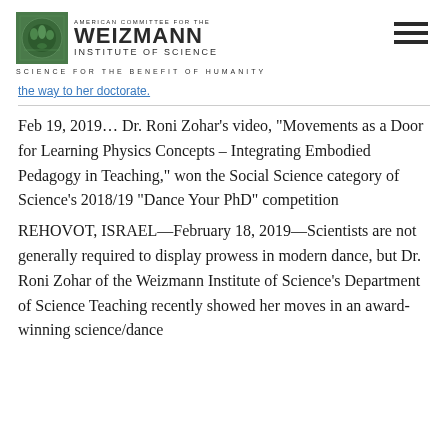American Committee for the Weizmann Institute of Science — Science for the Benefit of Humanity
the way to her doctorate.
Feb 19, 2019... Dr. Roni Zohar's video, "Movements as a Door for Learning Physics Concepts – Integrating Embodied Pedagogy in Teaching," won the Social Science category of Science's 2018/19 "Dance Your PhD" competition
REHOVOT, ISRAEL—February 18, 2019—Scientists are not generally required to display prowess in modern dance, but Dr. Roni Zohar of the Weizmann Institute of Science's Department of Science Teaching recently showed her moves in an award-winning science/dance